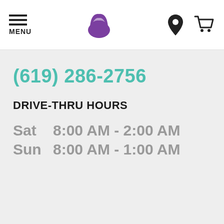[Figure (logo): Taco Bell website header with hamburger menu icon, Taco Bell logo, location pin icon, and shopping cart icon]
(619) 286-2756
DRIVE-THRU HOURS
| Day | Hours |
| --- | --- |
| Sat | 8:00 AM - 2:00 AM |
| Sun | 8:00 AM - 1:00 AM |